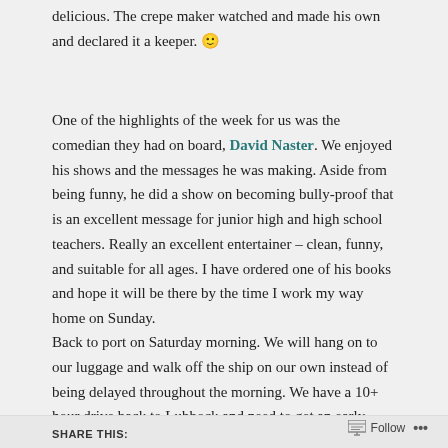delicious. The crepe maker watched and made his own and declared it a keeper. 🙂
One of the highlights of the week for us was the comedian they had on board, David Naster. We enjoyed his shows and the messages he was making. Aside from being funny, he did a show on becoming bully-proof that is an excellent message for junior high and high school teachers. Really an excellent entertainer – clean, funny, and suitable for all ages. I have ordered one of his books and hope it will be there by the time I work my way home on Sunday.
Back to port on Saturday morning. We will hang on to our luggage and walk off the ship on our own instead of being delayed throughout the morning. We have a 10+ hour drive back to Lubbock and need to get an early start.
SHARE THIS: